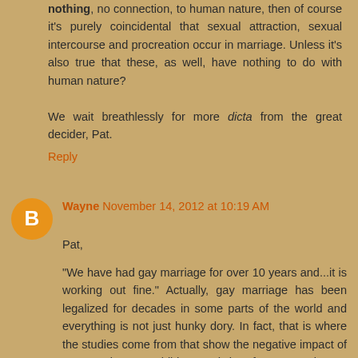nothing, no connection, to human nature, then of course it's purely coincidental that sexual attraction, sexual intercourse and procreation occur in marriage. Unless it's also true that these, as well, have nothing to do with human nature?
We wait breathlessly for more dicta from the great decider, Pat.
Reply
Wayne November 14, 2012 at 10:19 AM
Pat,
"We have had gay marriage for over 10 years and...it is working out fine." Actually, gay marriage has been legalized for decades in some parts of the world and everything is not just hunky dory. In fact, that is where the studies come from that show the negative impact of gay marriage on children and therefore on society at large. And if things are working out just fine I must ask: "For whom?"